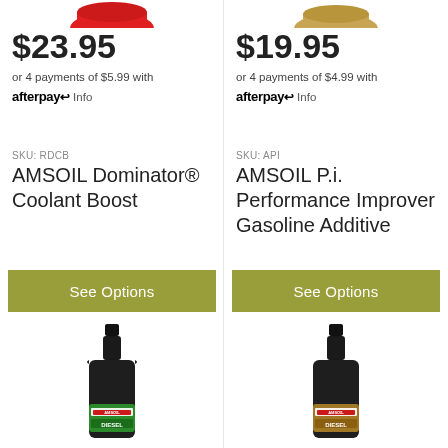[Figure (photo): Partial top view of AMSOIL Dominator Coolant Boost product (red cap/lid visible at top)]
[Figure (photo): Partial top view of AMSOIL P.i. Performance Improver product (gold/tan cap visible at top)]
$23.95
or 4 payments of $5.99 with afterpay Info
$19.95
or 4 payments of $4.99 with afterpay Info
SKU: RDCB
AMSOIL Dominator® Coolant Boost
SKU: API
AMSOIL P.i. Performance Improver Gasoline Additive
See Options
See Options
[Figure (photo): AMSOIL Diesel Injector Clean product bottle (black bottle with green label)]
[Figure (photo): AMSOIL Diesel Injector Clean product bottle (black bottle with gold/tan label)]